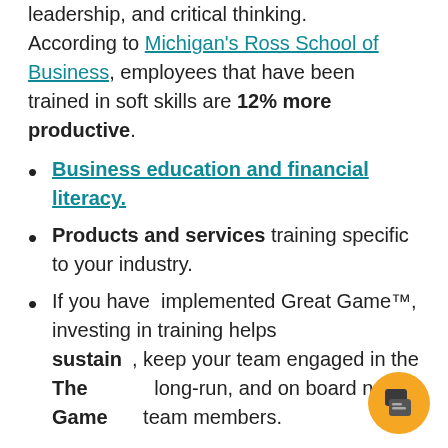leadership, and critical thinking. According to Michigan's Ross School of Business, employees that have been trained in soft skills are 12% more productive.
Business education and financial literacy.
Products and services training specific to your industry.
If you have implemented Great Game™, investing in training helps sustain, keep your team engaged in the The long-run, and on board new Game team members.
The Great Game of Business® provides several customizable on-site training options for GGOB methodology and other